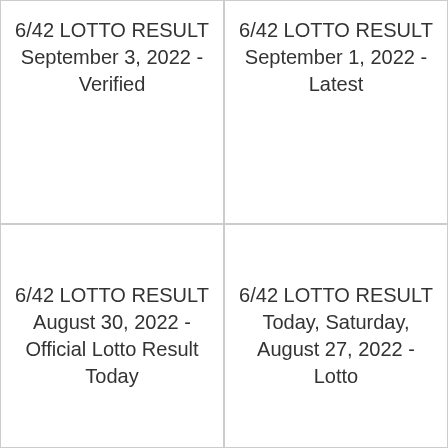6/42 LOTTO RESULT September 3, 2022 - Verified
6/42 LOTTO RESULT September 1, 2022 - Latest
6/42 LOTTO RESULT August 30, 2022 - Official Lotto Result Today
6/42 LOTTO RESULT Today, Saturday, August 27, 2022 - Lotto